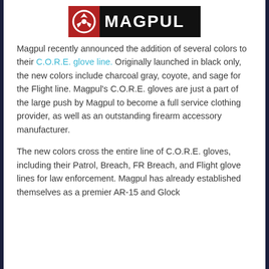[Figure (logo): Magpul logo: red square with white icon on left, black background with white MAGPUL text on right]
Magpul recently announced the addition of several colors to their C.O.R.E. glove line. Originally launched in black only, the new colors include charcoal gray, coyote, and sage for the Flight line. Magpul's C.O.R.E. gloves are just a part of the large push by Magpul to become a full service clothing provider, as well as an outstanding firearm accessory manufacturer.
The new colors cross the entire line of C.O.R.E. gloves, including their Patrol, Breach, FR Breach, and Flight glove lines for law enforcement. Magpul has already established themselves as a premier AR-15 and Glock